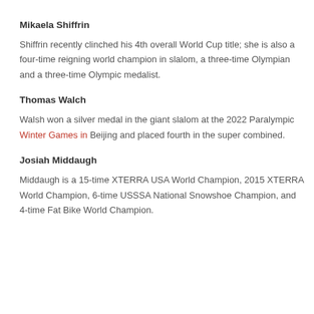Mikaela Shiffrin
Shiffrin recently clinched his 4th overall World Cup title; she is also a four-time reigning world champion in slalom, a three-time Olympian and a three-time Olympic medalist.
Thomas Walch
Walsh won a silver medal in the giant slalom at the 2022 Paralympic Winter Games in Beijing and placed fourth in the super combined.
Josiah Middaugh
Middaugh is a 15-time XTERRA USA World Champion, 2015 XTERRA World Champion, 6-time USSSA National Snowshoe Champion, and 4-time Fat Bike World Champion.